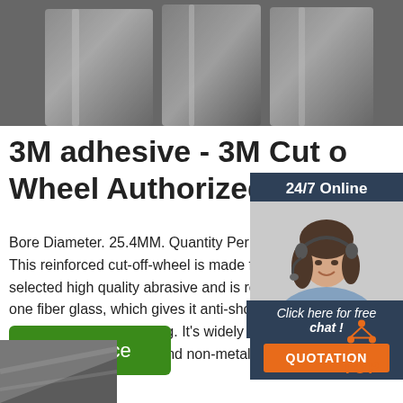[Figure (photo): Close-up photo of metallic/steel flat bars or plates, grey tones, industrial product shot]
3M adhesive - 3M Cut off Wheel Authorized Who
Bore Diameter. 25.4MM. Quantity Per Pa... This reinforced cut-off-wheel is made fro... selected high quality abrasive and is rein... one fiber glass, which gives it anti-shock... and resistance to bending. It's widely use... cutting various metallic and non-metallic...
[Figure (photo): Online chat customer service widget with woman wearing headset, dark blue/grey background, 24/7 Online header, Click here for free chat text, and orange QUOTATION button]
[Figure (other): Orange TOP icon with arrow/triangle dots above the text TOP in orange]
[Figure (photo): Partial photo of a dark grey metallic/abrasive material at the bottom left corner]
Get Price